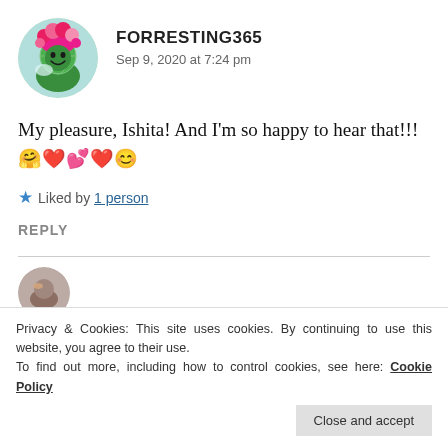[Figure (illustration): Circular avatar showing an illustrated character with bright pink/magenta hair and green skin, smiling, with a globe/earth element, on a light blue background.]
FORRESTING365
Sep 9, 2020 at 7:24 pm
My pleasure, Ishita! And I'm so happy to hear that!!! 🤗❤️💕❤️😊
★ Liked by 1 person
REPLY
[Figure (photo): Partially visible circular avatar at the bottom of the page.]
Privacy & Cookies: This site uses cookies. By continuing to use this website, you agree to their use.
To find out more, including how to control cookies, see here: Cookie Policy
Close and accept